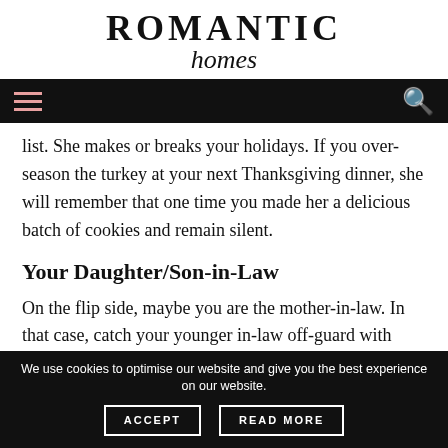ROMANTIC homes
list. She makes or breaks your holidays. If you over-season the turkey at your next Thanksgiving dinner, she will remember that one time you made her a delicious batch of cookies and remain silent.
Your Daughter/Son-in-Law
On the flip side, maybe you are the mother-in-law. In that case, catch your younger in-law off-guard with cookies so sweet and mouthwatering that he or she will have no choice but to endure your favorite story, for the
We use cookies to optimise our website and give you the best experience on our website. ACCEPT READ MORE